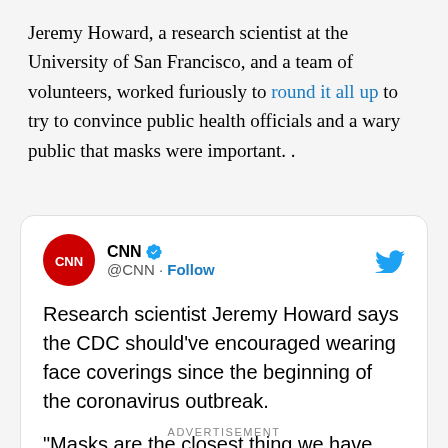Jeremy Howard, a research scientist at the University of San Francisco, and a team of volunteers, worked furiously to round it all up to try to convince public health officials and a wary public that masks were important. .
[Figure (screenshot): Embedded tweet from CNN (@CNN) with Follow button and Twitter bird icon. Tweet text: 'Research scientist Jeremy Howard says the CDC should've encouraged wearing face coverings since the beginning of the coronavirus outbreak.' Followed by: '"Masks are the closest thing we have right now to this kind of imperfect vaccine," he tells' (cut off). CNN logo shown as red circle with white CNN text.]
ADVERTISEMENT